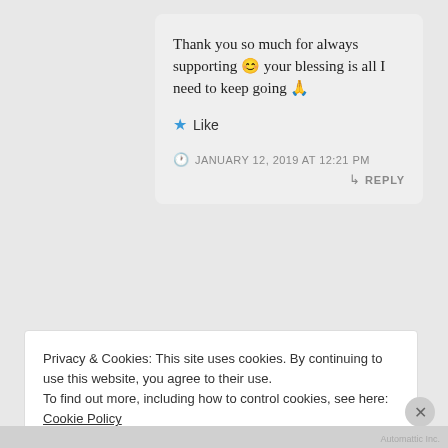Thank you so much for always supporting 😊 your blessing is all I need to keep going 🙏
★ Like
JANUARY 12, 2019 AT 12:21 PM
↳ REPLY
Privacy & Cookies: This site uses cookies. By continuing to use this website, you agree to their use.
To find out more, including how to control cookies, see here: Cookie Policy
Close and accept